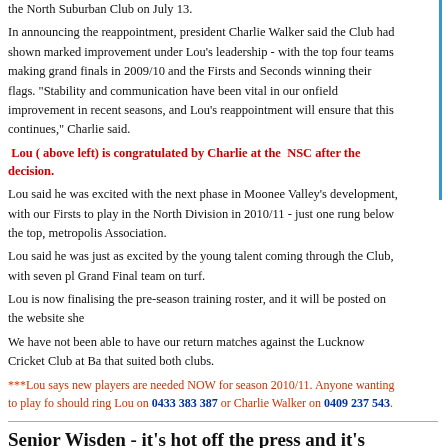the North Suburban Club on July 13.
In announcing the reappointment, president Charlie Walker said the Club had shown marked improvement under Lou's leadership - with the top four teams making grand finals in 2009/10 and the Firsts and Seconds winning their flags. "Stability and communication have been vital in our onfield improvement in recent seasons, and Lou's reappointment will ensure that this continues," Charlie said.
Lou ( above left) is congratulated by Charlie at the NSC after the decision.
Lou said he was excited with the next phase in Moonee Valley's development, with our Firsts to play in the North Division in 2010/11 - just one rung below the top, metropolis Association.
Lou said he was just as excited by the young talent coming through the Club, with seven pl Grand Final team on turf.
Lou is now finalising the pre-season training roster, and it will be posted on the website she
We have not been able to have our return matches against the Lucknow Cricket Club at Ba that suited both clubs.
***Lou says new players are needed NOW for season 2010/11. Anyone wanting to play fo should ring Lou on 0433 383 387 or Charlie Walker on 0409 237 543.
Senior Wisden - it's hot off the press and it's here now!
Our Senior Wisden for season 2009/10 is here NOW!